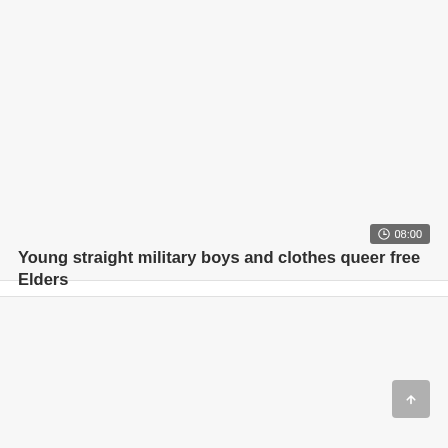[Figure (screenshot): Blank grey thumbnail area for a video card]
Young straight military boys and clothes queer free Elders
[Figure (screenshot): Blank grey area below the video card]